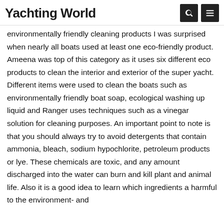Yachting World
environmentally friendly cleaning products I was surprised when nearly all boats used at least one eco-friendly product. Ameena was top of this category as it uses six different eco products to clean the interior and exterior of the super yacht. Different items were used to clean the boats such as environmentally friendly boat soap, ecological washing up liquid and Ranger uses techniques such as a vinegar solution for cleaning purposes. An important point to note is that you should always try to avoid detergents that contain ammonia, bleach, sodium hypochlorite, petroleum products or lye. These chemicals are toxic, and any amount discharged into the water can burn and kill plant and animal life. Also it is a good idea to learn which ingredients a harmful to the environment- and